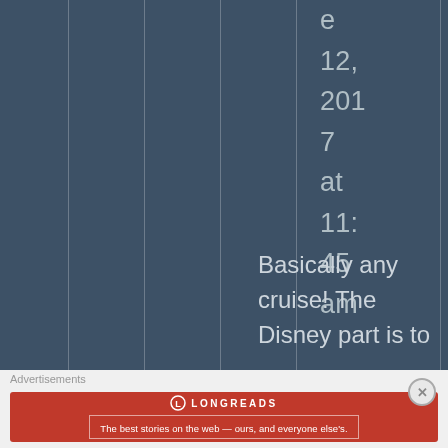June 12, 2017 at 11:45 am
Basically any cruise! The Disney part is to
Advertisements
[Figure (logo): Longreads advertisement banner: circular L logo, LONGREADS text, tagline 'The best stories on the web — ours, and everyone else's.']